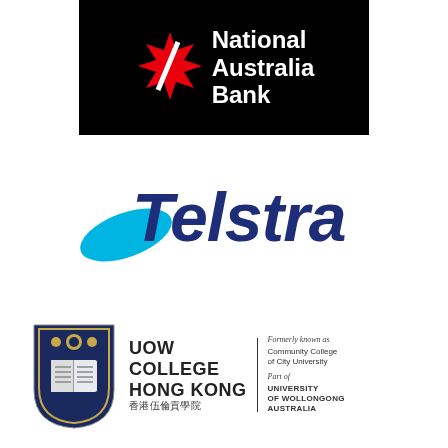[Figure (logo): National Australia Bank logo — black rectangle with white text 'National Australia Bank' and red star graphic]
[Figure (logo): Telstra logo — dark blue italic Telstra wordmark with cyan ellipse swoosh element]
[Figure (logo): UOW College Hong Kong logo — university shield crest, text 'UOW COLLEGE HONG KONG 香港伍倫貢學院', with right panel 'Formerly known as Community College of City University / Part of UNIVERSITY OF WOLLONGONG AUSTRALIA']